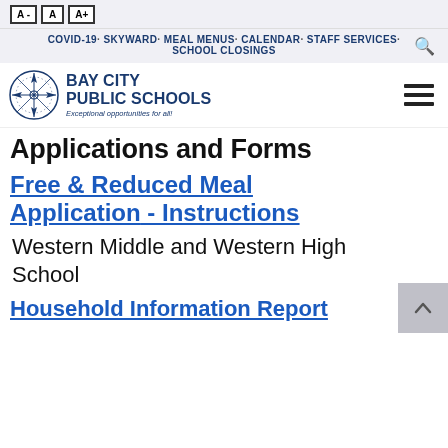A-  A  A+
COVID-19 · SKYWARD · MEAL MENUS · CALENDAR · STAFF SERVICES · SCHOOL CLOSINGS
[Figure (logo): Bay City Public Schools logo with compass rose graphic and tagline 'Exceptional opportunities for all!']
Applications and Forms
Free & Reduced Meal Application - Instructions
Western Middle and Western High School
Household Information Report 2022-23 - Instructions